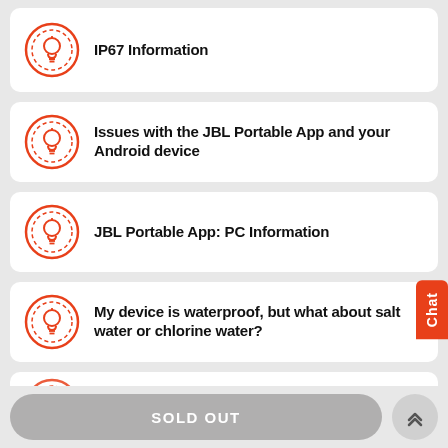IP67 Information
Issues with the JBL Portable App and your Android device
JBL Portable App: PC Information
My device is waterproof, but what about salt water or chlorine water?
Setting up Multiple Devices and Speakers (partial)
SOLD OUT